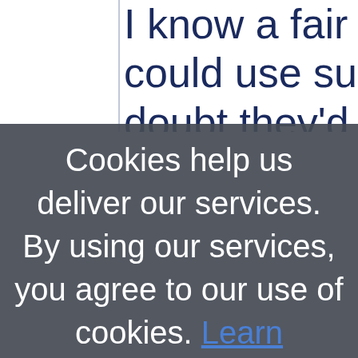I know a fair few characters could use such insight, s… doubt they'd take heed.
Cookies help us deliver our services. By using our services, you agree to our use of cookies. Learn more OK